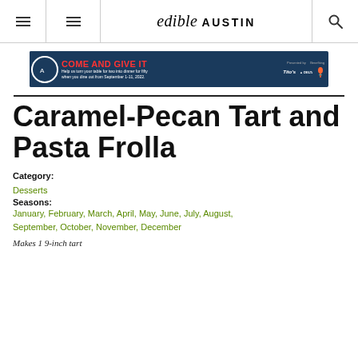edible AUSTIN
[Figure (infographic): Advertisement banner: 'COME AND GIVE IT' with Austin restaurant week branding, Tito's, Delta, and carrot logos on dark blue background]
Caramel-Pecan Tart and Pasta Frolla
Category: Desserts
Seasons: January, February, March, April, May, June, July, August, September, October, November, December
Makes 1 9-inch tart